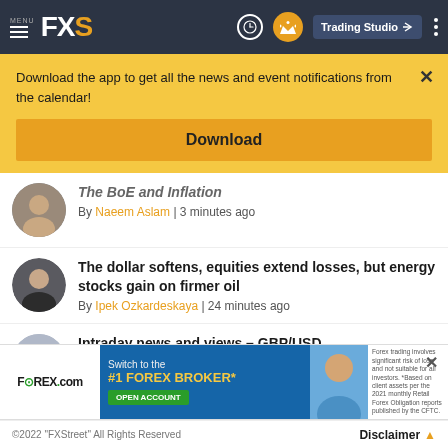MENU FXS | Trading Studio
Download the app to get all the news and event notifications from the calendar!
Download
The BoE and Inflation
By Naeem Aslam | 3 minutes ago
The dollar softens, equities extend losses, but energy stocks gain on firmer oil
By Ipek Ozkardeskaya | 24 minutes ago
Intraday news and views – GBP/USD
[Figure (screenshot): Forex.com advertisement banner: Switch to the #1 FOREX BROKER* OPEN ACCOUNT]
©2022 "FXStreet" All Rights Reserved    Disclaimer ▲